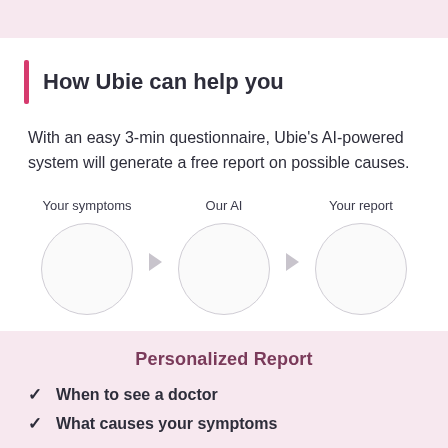How Ubie can help you
With an easy 3-min questionnaire, Ubie's AI-powered system will generate a free report on possible causes.
[Figure (infographic): Three circles labeled 'Your symptoms', 'Our AI', 'Your report' connected by arrows showing the process flow.]
Personalized Report
When to see a doctor
What causes your symptoms